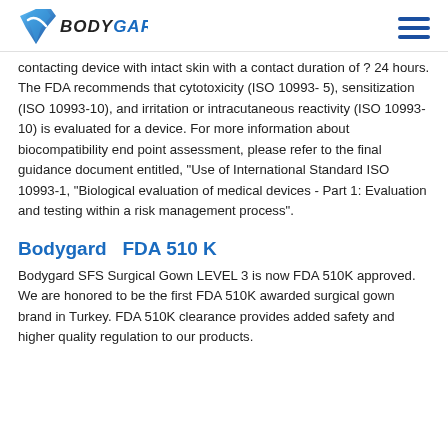BODYGARD
contacting device with intact skin with a contact duration of ? 24 hours. The FDA recommends that cytotoxicity (ISO 10993-5), sensitization (ISO 10993-10), and irritation or intracutaneous reactivity (ISO 10993-10) is evaluated for a device. For more information about biocompatibility end point assessment, please refer to the final guidance document entitled, “Use of International Standard ISO 10993-1, “Biological evaluation of medical devices - Part 1: Evaluation and testing within a risk management process”.
Bodygard  FDA 510 K
Bodygard SFS Surgical Gown LEVEL 3 is now FDA 510K approved. We are honored to be the first FDA 510K awarded surgical gown brand in Turkey. FDA 510K clearance provides added safety and higher quality regulation to our products.